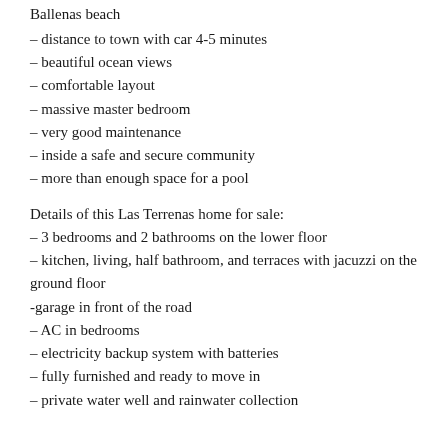Ballenas beach
– distance to town with car 4-5 minutes
– beautiful ocean views
– comfortable layout
– massive master bedroom
– very good maintenance
– inside a safe and secure community
– more than enough space for a pool
Details of this Las Terrenas home for sale:
– 3 bedrooms and 2 bathrooms on the lower floor
– kitchen, living, half bathroom, and terraces with jacuzzi on the ground floor
-garage in front of the road
– AC in bedrooms
– electricity backup system with batteries
– fully furnished and ready to move in
– private water well and rainwater collection